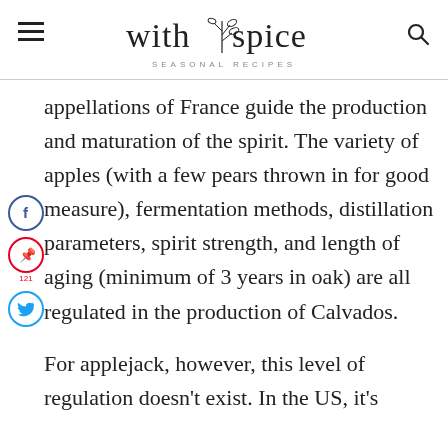with spice — SEASONAL RECIPES
appellations of France guide the production and maturation of the spirit. The variety of apples (with a few pears thrown in for good measure), fermentation methods, distillation parameters, spirit strength, and length of aging (minimum of 3 years in oak) are all regulated in the production of Calvados.
For applejack, however, this level of regulation doesn't exist. In the US, it's